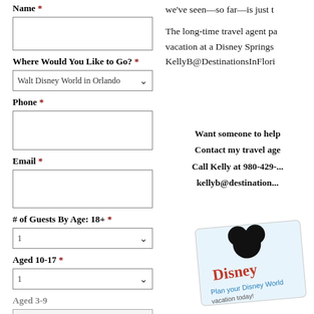Name *
Where Would You Like to Go? *
Walt Disney World in Orlando
Phone *
Email *
# of Guests By Age: 18+ *
Aged 10-17 *
Aged 3-9
Check In Date *
we've seen—so far—is just t
The long-time travel agent pa vacation at a Disney Springs KellyB@DestinationsInFlori
Want someone to help
Contact my travel age
Call Kelly at 980-429-... kellyb@destination...
[Figure (other): Partial view of a Disney travel agent business card with Mickey Mouse ears logo, colorful text including 'Disney' in red, showing a promotional card for a Disney travel agency.]